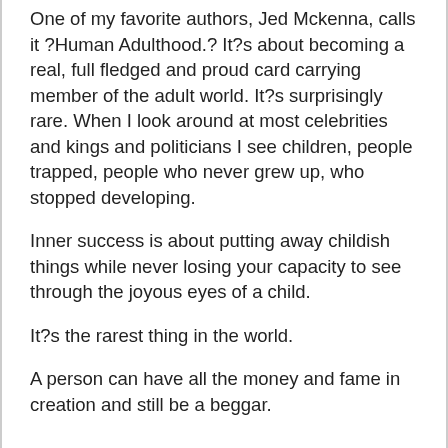One of my favorite authors, Jed Mckenna, calls it ?Human Adulthood.? It?s about becoming a real, full fledged and proud card carrying member of the adult world. It?s surprisingly rare. When I look around at most celebrities and kings and politicians I see children, people trapped, people who never grew up, who stopped developing.
Inner success is about putting away childish things while never losing your capacity to see through the joyous eyes of a child.
It?s the rarest thing in the world.
A person can have all the money and fame in creation and still be a beggar.